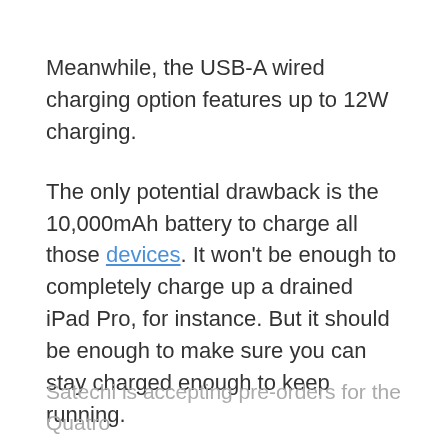Meanwhile, the USB-A wired charging option features up to 12W charging.
The only potential drawback is the 10,000mAh battery to charge all those devices. It won't be enough to completely charge up a drained iPad Pro, for instance. But it should be enough to make sure you can stay charged enough to keep running.
There are LED lights along the bottom edge to know the power bank's battery level at a glance. And the accessory retails for $99.99
Satechi is accepting pre-orders for the Quatro